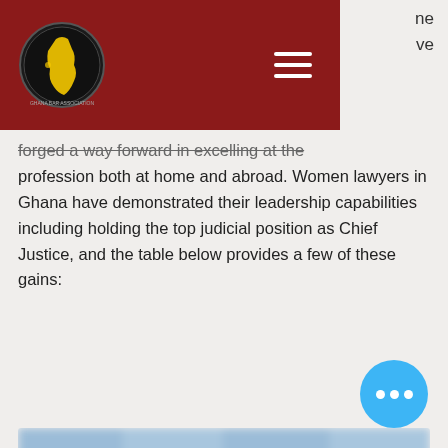forged a way forward in excelling at the profession both at home and abroad. Women lawyers in Ghana have demonstrated their leadership capabilities including holding the top judicial position as Chief Justice, and the table below provides a few of these gains:
[Figure (table-as-image): A blurred table showing data about women lawyers/judicial positions in Ghana with multiple columns and rows. Content is not legible due to blur/redaction.]
Among some of the top-ranking law firms in Ghana, women are well represented as partners and managing partners: